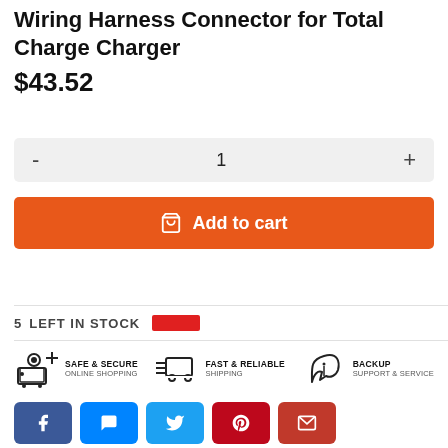Wiring Harness Connector for Total Charge Charger
$43.52
1 (quantity selector with - and + buttons)
Add to cart
5 LEFT IN STOCK
[Figure (infographic): Three trust badges: Safe & Secure Online Shopping, Fast & Reliable Shipping, Backup Support & Service]
[Figure (infographic): Social sharing buttons: Facebook, Messenger, Twitter, Pinterest, Email]